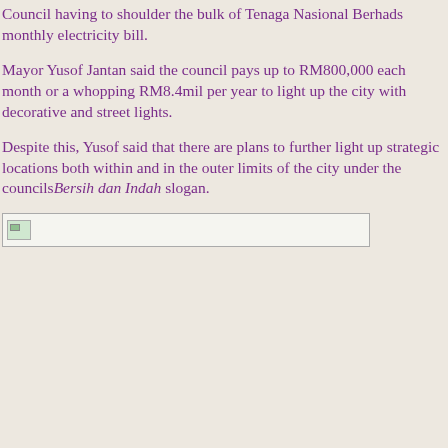Council having to shoulder the bulk of Tenaga Nasional Berhads monthly electricity bill.
Mayor Yusof Jantan said the council pays up to RM800,000 each month or a whopping RM8.4mil per year to light up the city with decorative and street lights.
Despite this, Yusof said that there are plans to further light up strategic locations both within and in the outer limits of the city under the councilsBersih dan Indah slogan.
[Figure (photo): A broken/missing image placeholder icon]